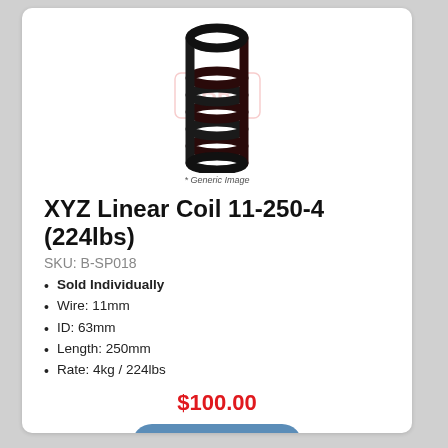[Figure (photo): A black coil spring (linear coil spring) photographed on white background with a faint red watermark logo overlay. Caption below reads '* Generic Image'.]
* Generic Image
XYZ Linear Coil 11-250-4 (224lbs)
SKU: B-SP018
Sold Individually
Wire: 11mm
ID: 63mm
Length: 250mm
Rate: 4kg / 224lbs
$100.00
Add to Cart